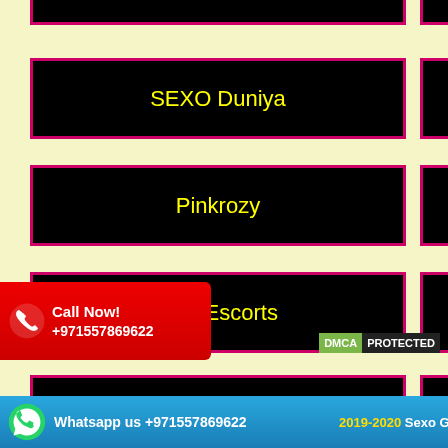[Figure (screenshot): Website listing page with multiple black rectangular banners on cream/yellow background. Banners have magenta/pink borders with yellow text labels for adult directory sites.]
SEXO Duniya
Pinkrozy
Gulf Escorts
Aisa Adult Guide
Call Now! +971557869622
DMCA PROTECTED
Whatsapp us +971557869622
2019-2020 Sexo Gulf